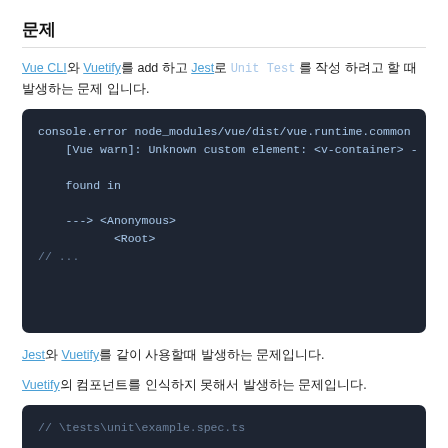문제
Vue CLI와 Vuetify를 add 하고 Jest로 Unit Test 를 작성 하려고 할 때 발생하는 문제 입니다.
[Figure (screenshot): Dark-themed code block showing a console.error from node_modules/vue/dist/vue.runtime.common with [Vue warn]: Unknown custom element: <v-container> - found in ---> <Anonymous> <Root> // ...]
Jest와 Vuetify를 같이 사용할때 발생하는 문제입니다.
Vuetify의 컴포넌트를 인식하지 못해서 발생하는 문제입니다.
[Figure (screenshot): Dark-themed code block showing // \tests\unit\example.spec.ts]